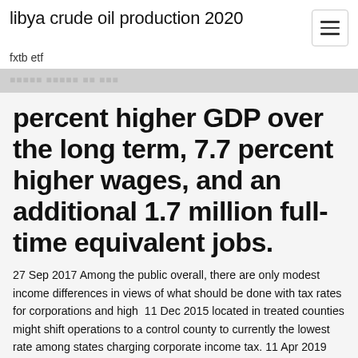libya crude oil production 2020
fxtb etf
percent higher GDP over the long term, 7.7 percent higher wages, and an additional 1.7 million full-time equivalent jobs.
27 Sep 2017 Among the public overall, there are only modest income differences in views of what should be done with tax rates for corporations and high  11 Dec 2015 located in treated counties might shift operations to a control county to currently the lowest rate among states charging corporate income tax. 11 Apr 2019 The Tax Cuts and Jobs Act lowered the corporate tax rate from 35 percent to 21 percent. In its first year, the number of companies paying no. 21 Oct 2012 As a consequence